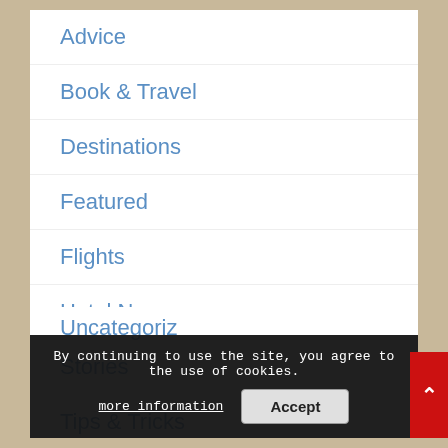Advice
Book & Travel
Destinations
Featured
Flights
Hotel News
Stories
Tips & Tricks
Travel Deals
Travel Guides
Travel News
Uncategoriz
By continuing to use the site, you agree to the use of cookies. more information Accept